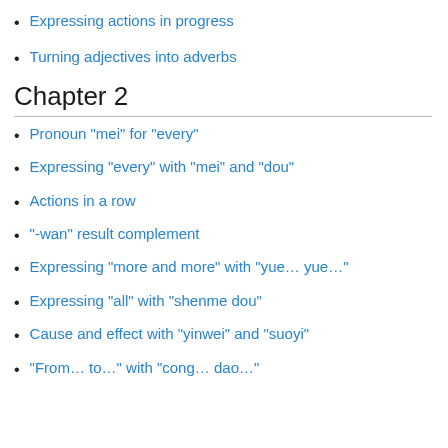Expressing actions in progress
Turning adjectives into adverbs
Chapter 2
Pronoun "mei" for "every"
Expressing "every" with "mei" and "dou"
Actions in a row
"-wan" result complement
Expressing "more and more" with "yue… yue…"
Expressing "all" with "shenme dou"
Cause and effect with "yinwei" and "suoyi"
"From… to…" with "cong… dao…"